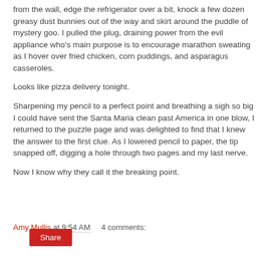from the wall, edge the refrigerator over a bit, knock a few dozen greasy dust bunnies out of the way and skirt around the puddle of mystery goo. I pulled the plug, draining power from the evil appliance who’s main purpose is to encourage marathon sweating as I hover over fried chicken, corn puddings, and asparagus casseroles.
Looks like pizza delivery tonight.
Sharpening my pencil to a perfect point and breathing a sigh so big I could have sent the Santa Maria clean past America in one blow, I returned to the puzzle page and was delighted to find that I knew the answer to the first clue. As I lowered pencil to paper, the tip snapped off, digging a hole through two pages and my last nerve.
Now I know why they call it the breaking point.
Amy Mullis at 9:54 AM    4 comments:
Share